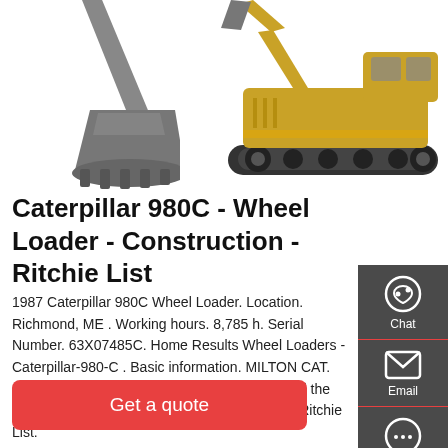[Figure (photo): Construction equipment product listing page showing a wheel loader bucket (left) and a full Caterpillar excavator (right) on white background]
Caterpillar 980C - Wheel Loader - Construction - Ritchie List
1987 Caterpillar 980C Wheel Loader. Location. Richmond, ME . Working hours. 8,785 h. Serial Number. 63X07485C. Home Results Wheel Loaders - Caterpillar-980-C . Basic information. MILTON CAT. Contact via phone +1 508 482 1697. Please tell the seller that you found their machine for sale on Ritchie List. 100 Quarry Drive, Milford ME 1757
Get a quote